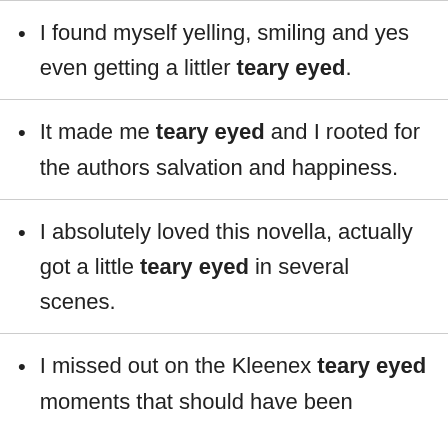I found myself yelling, smiling and yes even getting a littler teary eyed.
It made me teary eyed and I rooted for the authors salvation and happiness.
I absolutely loved this novella, actually got a little teary eyed in several scenes.
I missed out on the Kleenex teary eyed moments that should have been